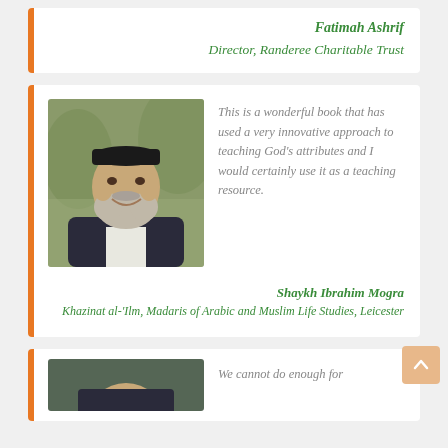Fatimah Ashrif
Director, Randeree Charitable Trust
[Figure (photo): Portrait photo of Shaykh Ibrahim Mogra, a man with a grey beard wearing a black cap and dark jacket, smiling]
This is a wonderful book that has used a very innovative approach to teaching God’s attributes and I would certainly use it as a teaching resource.
Shaykh Ibrahim Mogra
Khazinat al-‘Ilm, Madaris of Arabic and Muslim Life Studies, Leicester
[Figure (photo): Partial portrait photo at bottom of page, person partially visible]
We cannot do enough for